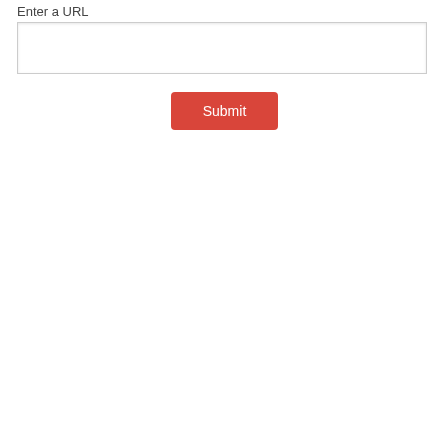Enter a URL
[Figure (other): Text input field (empty URL input box)]
[Figure (other): Submit button with red background and white text reading 'Submit']